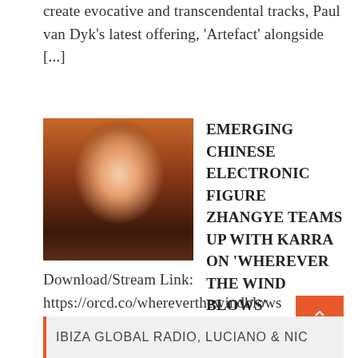create evocative and transcendental tracks, Paul van Dyk's latest offering, 'Artefact' alongside [...]
[Figure (photo): Album/artist promotional photo showing a person with hands cupped near their mouth against a warm orange-brown background]
EMERGING CHINESE ELECTRONIC FIGURE ZHANGYE TEAMS UP WITH KARRA ON 'WHEREVER THE WIND BLOWS'
Download/Stream Link: https://orcd.co/whereverthewindblows Promoted Post Following a strong debut earlier in 2022, ZHANGYE is back with his next release. Titled 'Wherever The Wind [...]
Recent Posts
IBIZA GLOBAL RADIO, LUCIANO & NIC